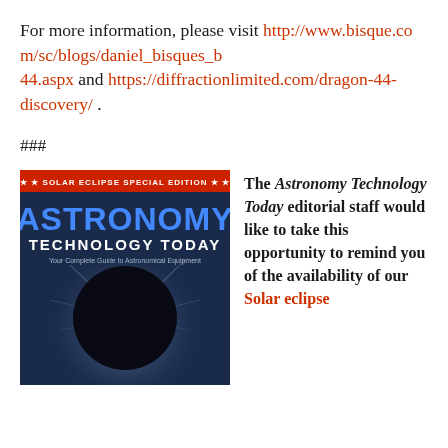For more information, please visit http://www.bisque.com/sc/blogs/daniel_bisques_b44.aspx and https://diffractionlimited.com/dragon-44-discovery/ .
###
[Figure (photo): Cover of Astronomy Technology Today magazine, Solar Eclipse Special Edition, showing a total solar eclipse with the moon blocking the sun and corona visible, against a dark blue background.]
The Astronomy Technology Today editorial staff would like to take this opportunity to remind you of the availability of our Solar eclipse